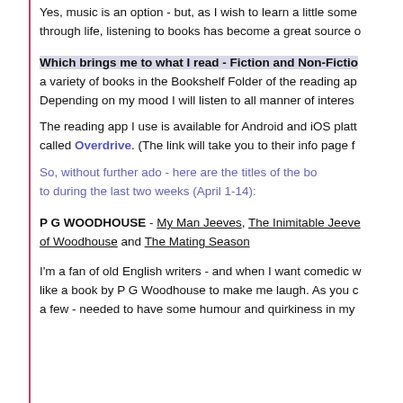Yes, music is an option - but, as I wish to learn a little some through life, listening to books has become a great source o
Which brings me to what I read - Fiction and Non-Fictio a variety of books in the Bookshelf Folder of the reading ap Depending on my mood I will listen to all manner of interes
The reading app I use is available for Android and iOS platt called Overdrive. (The link will take you to their info page f
So, without further ado - here are the titles of the bo to during the last two weeks (April 1-14):
P G WOODHOUSE - My Man Jeeves, The Inimitable Jeeve of Woodhouse and The Mating Season
I'm a fan of old English writers - and when I want comedic w like a book by P G Woodhouse to make me laugh. As you c a few - needed to have some humour and quirkiness in my